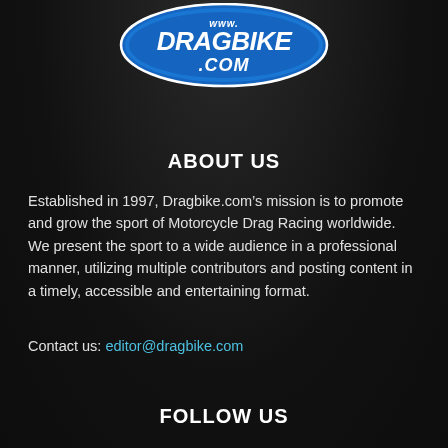[Figure (logo): Dragbike.com logo — blue oval with white italic text reading 'www.DRAGBIKE.COM']
ABOUT US
Established in 1997, Dragbike.com’s mission is to promote and grow the sport of Motorcycle Drag Racing worldwide. We present the sport to a wide audience in a professional manner, utilizing multiple contributors and posting content in a timely, accessible and entertaining format.
Contact us: editor@dragbike.com
FOLLOW US